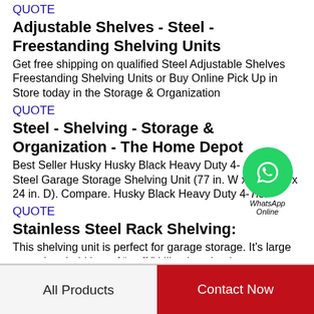QUOTE
Adjustable Shelves - Steel - Freestanding Shelving Units
Get free shipping on qualified Steel Adjustable Shelves Freestanding Shelving Units or Buy Online Pick Up in Store today in the Storage & Organization
QUOTE
Steel - Shelving - Storage & Organization - The Home Depot
Best Seller Husky Husky Black Heavy Duty 4-Tier Steel Garage Storage Shelving Unit (77 in. W x 78 in. H x 24 in. D). Compare. Husky Black Heavy Duty 4-Tier
[Figure (logo): WhatsApp logo circle with phone icon, labeled WhatsApp Online]
QUOTE
Stainless Steel Rack Shelving:
This shelving unit is perfect for garage storage. It's large enough to hold lots of “stuff.” I like the wheels so you can move it to clean the floor or rearrange shelves
QUOTE
All Products
Contact Now